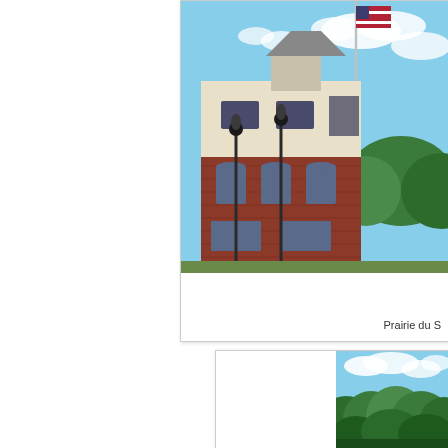[Figure (photo): Photograph of a brick municipal building with lamp posts and an American flag on a flagpole, set against a blue sky with clouds and green trees in background. The building has cream-colored upper story and red brick lower story with arched windows.]
Prairie du S
[Figure (photo): Photograph of a forested hillside or bluff covered in dense green trees under a partly cloudy blue sky.]